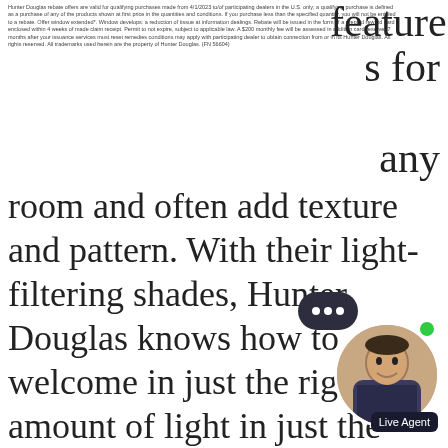Hunter Douglas rebate offers are valid for qualifying purchases made from 4/1/2023 to/of qualifying dealers in the U.S. only; a qualifying purchase is defined as a purchase of any of the products shown at first price the quantities and conditions. If you purchase less than the specified quantity, you will not be entitled to a rebate. Offer window extended*. Window develops: a reduction of tissue at information dealings. Rebate will be issued in the form of a prepaid reward card enclosed within 4 weeks of made claim receipt. Permit to not expire, subject to applicable law. A $200 monthly fee will be assessed in addition card reserve. 7 months after your issuance services must reset remedies conditions may apply with participating dealer to obtain connection from or in its human Douglas. All rights reserved. All trademarks used herein are the property of Hunter Douglas.
features for any room and often add texture and pattern. With their light-filtering shades, Hunter Douglas knows how to welcome in just the right amount of light in just the right way. As a Hunter Douglas Showcase Dealer, CDD is proud to offer their products to our clients. Hunter Douglas is committed not only to offering top-quality products, but also to rewarding customers with rebates throughout the year. Spring is a great time to update window shades or blinds with the Celebration of Light Savings